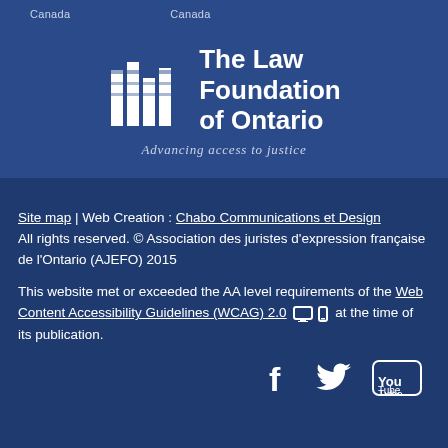Canada   Canada
[Figure (logo): The Law Foundation of Ontario logo with building/columns icon and tagline 'Advancing access to justice']
Site map | Web Creation : Chabo Communications et Design
All rights reserved. © Association des juristes d'expression française de l'Ontario (AJEFO) 2015
This website met or exceeded the AA level requirements of the Web Content Accessibility Guidelines (WCAG) 2.0 [monitor icon] [phone icon] at the time of its publication.
[Figure (other): Social media icons: Facebook, Twitter, YouTube]